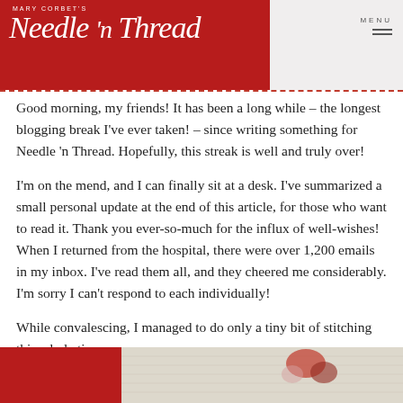Mary Corbet's Needle 'n Thread — MENU
Good morning, my friends! It has been a long while – the longest blogging break I've ever taken! – since writing something for Needle 'n Thread. Hopefully, this streak is well and truly over!
I'm on the mend, and I can finally sit at a desk. I've summarized a small personal update at the end of this article, for those who want to read it. Thank you ever-so-much for the influx of well-wishes! When I returned from the hospital, there were over 1,200 emails in my inbox. I've read them all, and they cheered me considerably. I'm sorry I can't respond to each individually!
While convalescing, I managed to do only a tiny bit of stitching this whole time.
I thought I'd share that with you, along with a couple tips on how to embroider your own hollyhocks.
[Figure (photo): Partial image of embroidery stitching on fabric, with a red block partially visible at bottom left]